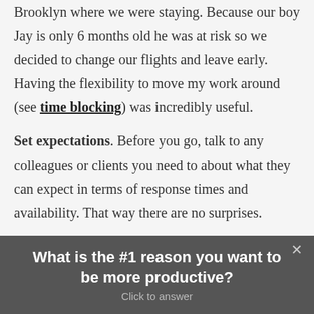Brooklyn where we were staying. Because our boy Jay is only 6 months old he was at risk so we decided to change our flights and leave early. Having the flexibility to move my work around (see time blocking) was incredibly useful.
Set expectations. Before you go, talk to any colleagues or clients you need to about what they can expect in terms of response times and availability. That way there are no surprises.
Prioritise your most important projects. Because you're probably not going to do a normal workload, you need to decide which
What is the #1 reason you want to be more productive? Click to answer